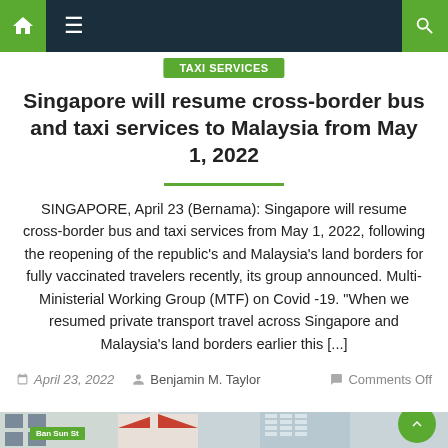Navigation bar with home, menu, and search icons
Taxi Services
Singapore will resume cross-border bus and taxi services to Malaysia from May 1, 2022
SINGAPORE, April 23 (Bernama): Singapore will resume cross-border bus and taxi services from May 1, 2022, following the reopening of the republic’s and Malaysia’s land borders for fully vaccinated travelers recently, its group announced. Multi-Ministerial Working Group (MTF) on Covid -19. “When we resumed private transport travel across Singapore and Malaysia’s land borders earlier this [...]
April 23, 2022   Benjamin M. Taylor   Comments Off
[Figure (photo): Street-level photo showing buildings including a church with a red roof, a multi-story building, and a street sign reading 'Ban Sun St']